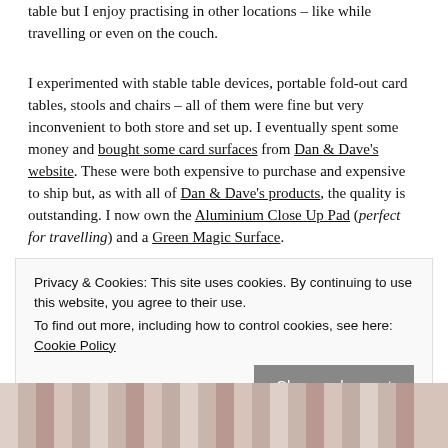table but I enjoy practising in other locations – like while travelling or even on the couch.
I experimented with stable table devices, portable fold-out card tables, stools and chairs – all of them were fine but very inconvenient to both store and set up. I eventually spent some money and bought some card surfaces from Dan & Dave's website. These were both expensive to purchase and expensive to ship but, as with all of Dan & Dave's products, the quality is outstanding. I now own the Aluminium Close Up Pad (perfect for travelling) and a Green Magic Surface.
Privacy & Cookies: This site uses cookies. By continuing to use this website, you agree to their use.
To find out more, including how to control cookies, see here: Cookie Policy
[Figure (photo): Bottom strip showing a photo, partially visible, with striped fabric or textile pattern in warm beige and brown tones.]